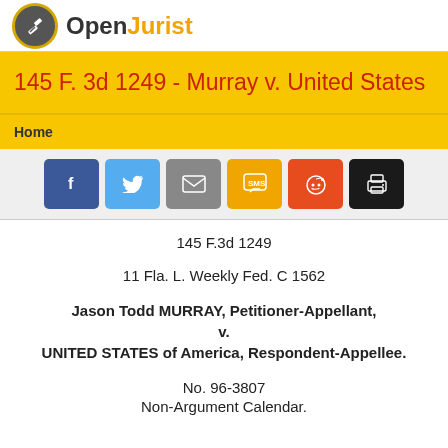[Figure (logo): OpenJurist logo with gavel icon in circle and text 'OpenJurist']
145 F. 3d 1249 - Murray v. United States
Home
[Figure (infographic): Social share buttons: Facebook, Twitter, Email, SMS, Reddit, Print]
145 F.3d 1249
11 Fla. L. Weekly Fed. C 1562
Jason Todd MURRAY, Petitioner-Appellant, v. UNITED STATES of America, Respondent-Appellee.
No. 96-3807
Non-Argument Calendar.